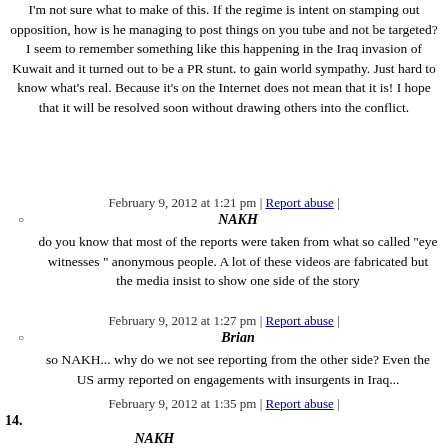I'm not sure what to make of this. If the regime is intent on stamping out opposition, how is he managing to post things on you tube and not be targeted? I seem to remember something like this happening in the Iraq invasion of Kuwait and it turned out to be a PR stunt. to gain world sympathy. Just hard to know what's real. Because it's on the Internet does not mean that it is! I hope that it will be resolved soon without drawing others into the conflict.
February 9, 2012 at 1:21 pm | Report abuse |
NAKH
do you know that most of the reports were taken from what so called "eye witnesses " anonymous people. A lot of these videos are fabricated but the media insist to show one side of the story
February 9, 2012 at 1:27 pm | Report abuse |
Brian
so NAKH... why do we not see reporting from the other side? Even the US army reported on engagements with insurgents in Iraq...
February 9, 2012 at 1:35 pm | Report abuse |
NAKH
14.